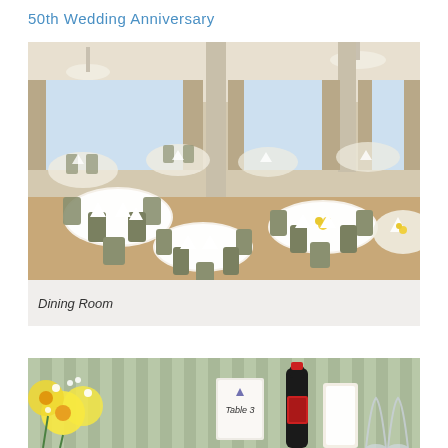50th Wedding Anniversary
[Figure (photo): Elegant dining room set up for a wedding anniversary celebration, with round tables covered in white tablecloths, striped upholstered chairs, white napkins, glassware, and yellow floral centerpieces. Large windows with curtains in the background.]
Dining Room
[Figure (photo): Close-up of a table setting with yellow daffodils and white baby's breath flowers, a wine bottle with red label, folded white napkins, a table number card reading 'Table 3', and glasses, with striped curtains in the background.]